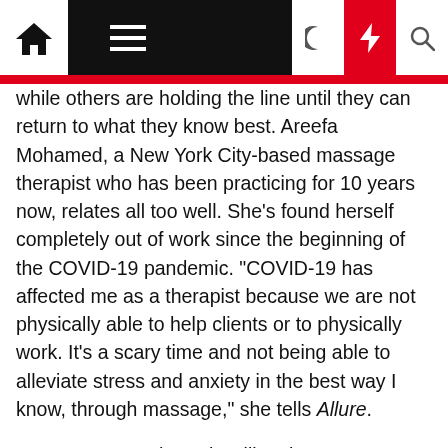[Navigation bar with home, menu, dark mode, lightning, search icons]
while others are holding the line until they can return to what they know best. Areefa Mohamed, a New York City-based massage therapist who has been practicing for 10 years now, relates all too well. She's found herself completely out of work since the beginning of the COVID-19 pandemic. "COVID-19 has affected me as a therapist because we are not physically able to help clients or to physically work. It's a scary time and not being able to alleviate stress and anxiety in the best way I know, through massage," she tells Allure.
Many massage therapists like Tim Grae, a New York City-based licensed massage therapist who runs a massage therapy and recovery company, are considering the added stress of figuring out how to pay for office spaces with unclear guidance around